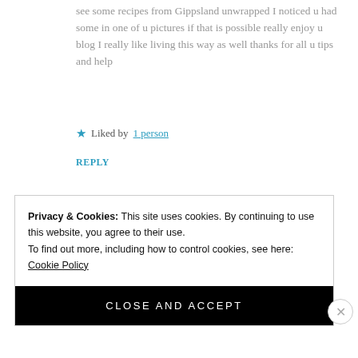see some recipes from Gippsland unwrapped I noticed u had some in one of u pictures if that is possible really enjoy u blog I really like living this way as well thanks for all u tips and help
Liked by 1 person
REPLY
Privacy & Cookies: This site uses cookies. By continuing to use this website, you agree to their use. To find out more, including how to control cookies, see here: Cookie Policy
CLOSE AND ACCEPT